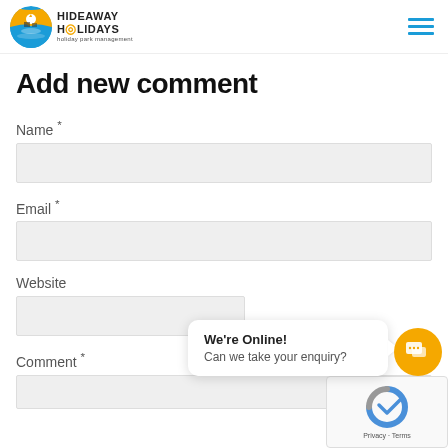[Figure (logo): Hideaway Holidays logo with circular icon and text]
Add new comment
Name *
Email *
Website
We're Online! Can we take your enquiry?
Comment *
[Figure (screenshot): reCAPTCHA widget with Privacy and Terms links]